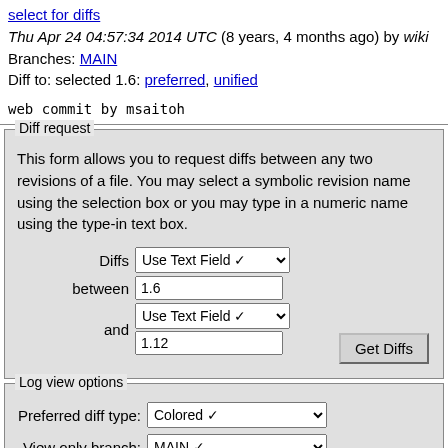select for diffs
Thu Apr 24 04:57:34 2014 UTC (8 years, 4 months ago) by wiki
Branches: MAIN
Diff to: selected 1.6: preferred, unified
web commit by msaitoh
Diff request - This form allows you to request diffs between any two revisions of a file. You may select a symbolic revision name using the selection box or you may type in a numeric name using the type-in text box. Diffs: Use Text Field, between: 1.6, and: Use Text Field, 1.12, Get Diffs button
Log view options - Preferred diff type: Colored, View only branch: MAIN